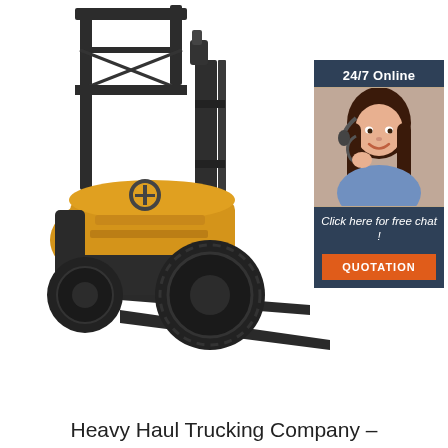[Figure (photo): Yellow and grey forklift with large black tires and black forks extended forward, on white background]
[Figure (infographic): Dark blue sidebar widget showing '24/7 Online', a photo of a woman with headset smiling, text 'Click here for free chat!' and an orange button labeled 'QUOTATION']
Heavy Haul Trucking Company –